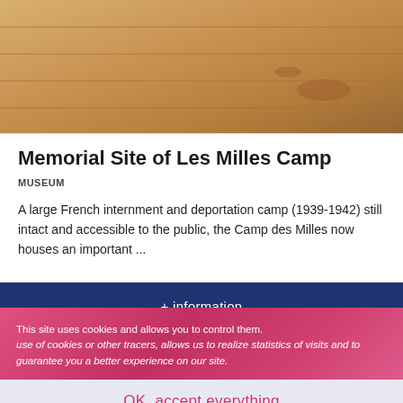[Figure (photo): Photo of the Memorial Site of Les Milles Camp showing wooden floor boards with warm sandy/brown tones]
Memorial Site of Les Milles Camp
MUSEUM
A large French internment and deportation camp (1939-1942) still intact and accessible to the public, the Camp des Milles now houses an important ...
+ information
This site uses cookies and allows you to control them. use of cookies or other tracers, allows us to realize statistics of visits and to guarantee you a better experience on our site.
OK, accept everything